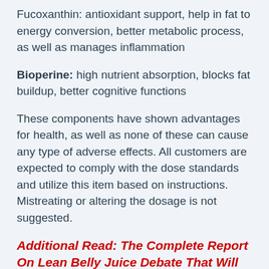Fucoxanthin: antioxidant support, help in fat to energy conversion, better metabolic process, as well as manages inflammation
Bioperine: high nutrient absorption, blocks fat buildup, better cognitive functions
These components have shown advantages for health, as well as none of these can cause any type of adverse effects. All customers are expected to comply with the dose standards and utilize this item based on instructions. Mistreating or altering the dosage is not suggested.
Additional Read: The Complete Report On Lean Belly Juice Debate That Will Blow